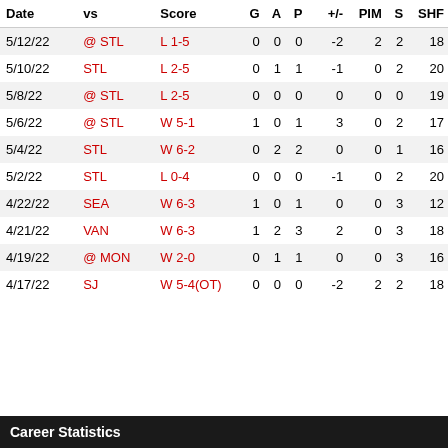| Date | vs | Score | G | A | P | +/- | PIM | S | SHF |
| --- | --- | --- | --- | --- | --- | --- | --- | --- | --- |
| 5/12/22 | @ STL | L 1-5 | 0 | 0 | 0 | -2 | 2 | 2 | 18 |
| 5/10/22 | STL | L 2-5 | 0 | 1 | 1 | -1 | 0 | 2 | 20 |
| 5/8/22 | @ STL | L 2-5 | 0 | 0 | 0 | 0 | 0 | 0 | 19 |
| 5/6/22 | @ STL | W 5-1 | 1 | 0 | 1 | 3 | 0 | 2 | 17 |
| 5/4/22 | STL | W 6-2 | 0 | 2 | 2 | 0 | 0 | 1 | 16 |
| 5/2/22 | STL | L 0-4 | 0 | 0 | 0 | -1 | 0 | 2 | 20 |
| 4/22/22 | SEA | W 6-3 | 1 | 0 | 1 | 0 | 0 | 3 | 12 |
| 4/21/22 | VAN | W 6-3 | 1 | 2 | 3 | 2 | 0 | 3 | 18 |
| 4/19/22 | @ MON | W 2-0 | 0 | 1 | 1 | 0 | 0 | 3 | 16 |
| 4/17/22 | SJ | W 5-4(OT) | 0 | 0 | 0 | -2 | 2 | 2 | 18 |
Career Statistics